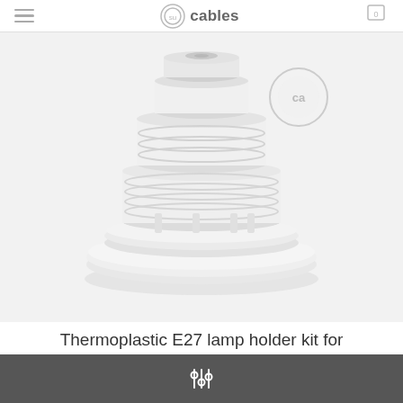cables
[Figure (photo): A white thermoplastic E27 lamp holder kit for lampshade, viewed from above/front, showing threaded cylindrical body with wide flat base and locking ring]
Thermoplastic E27 lamp holder kit for lampshade
$11.00